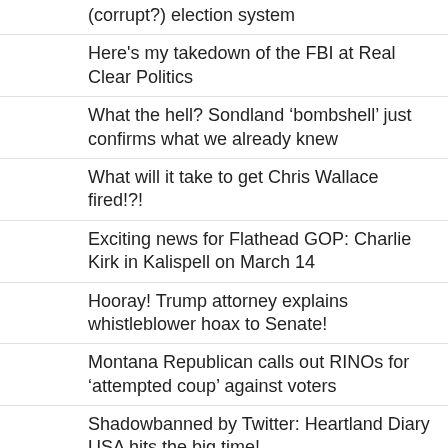(corrupt?) election system
Here's my takedown of the FBI at Real Clear Politics
What the hell? Sondland ‘bombshell’ just confirms what we already knew
What will it take to get Chris Wallace fired!?!
Exciting news for Flathead GOP: Charlie Kirk in Kalispell on March 14
Hooray! Trump attorney explains whistleblower hoax to Senate!
Montana Republican calls out RINOs for ‘attempted coup’ against voters
Shadowbanned by Twitter: Heartland Diary USA hits the big time!
Free speech needs a bodyguard at Berkeley
Flashback: Marc Racicot's 'compromise' with radical Dems is nothing new